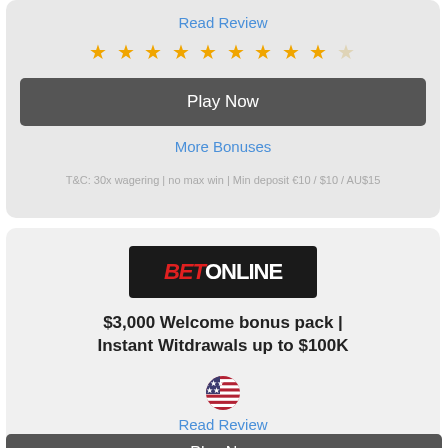Read Review
[Figure (other): Star rating: 9 out of 10 stars (gold stars with one outline)]
Play Now
More Bonuses
T&C: 30x wagering | no max win | Min deposit €10 / $10 / AU$15
[Figure (logo): BetOnline logo - black background with BET in red italic and ONLINE in white]
$3,000 Welcome bonus pack | Instant Witdrawals up to $100K
[Figure (other): US flag circular icon]
Read Review
[Figure (other): Star rating: 8 out of 10 stars (gold stars with two outline stars)]
Play Now